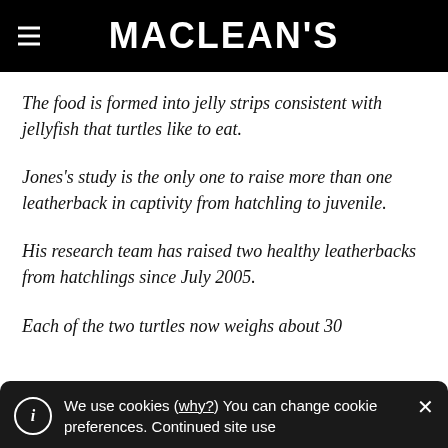MACLEAN'S
The food is formed into jelly strips consistent with jellyfish that turtles like to eat.
Jones's study is the only one to raise more than one leatherback in captivity from hatchling to juvenile.
His research team has raised two healthy leatherbacks from hatchlings since July 2005.
Each of the two turtles now weighs about 30
We use cookies (why?) You can change cookie preferences. Continued site use